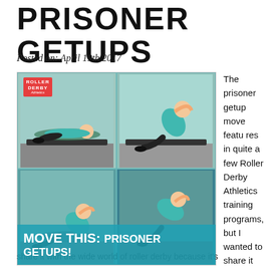PRISONER GETUPS
Posted on: April 19th 2017
[Figure (photo): A 2x2 grid of photos showing a woman performing prisoner getup exercises in a gym, wearing a teal tank top and black leggings. The top-left cell shows a Roller Derby Athletics red logo badge. The bottom half features an overlay with text 'MOVE THIS: PRISONER GETUPS!']
The prisoner getup move features in quite a few Roller Derby Athletics training programs, but I wanted to share it with the wide world of roller derby because it's